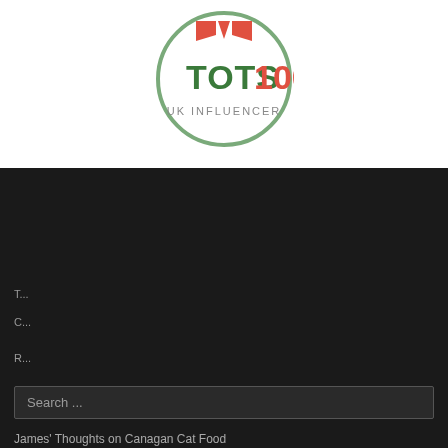[Figure (logo): TOTS100 UK Influencer circular logo with green circle border, red speech bubble icon, green TOTS text, red 100 text, and grey UK INFLUENCER text below]
Search ...
TOP POSTS & PAGES
Privacy & Cookies: This site uses cookies. By continuing to use this website, you agree to their use. To find out more, including how to control cookies, see here: Cookie Policy
Close and accept
James' Thoughts on Canagan Cat Food